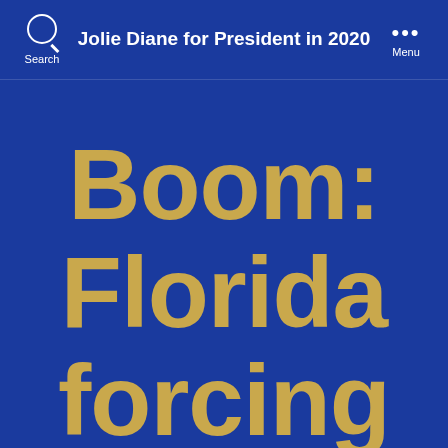Search  Jolie Diane for President in 2020  Menu
Boom: Florida forcing labs to